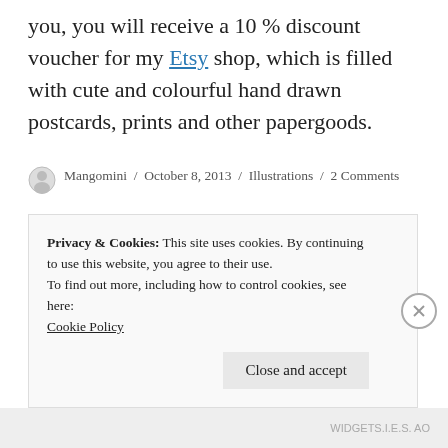you, you will receive a 10% discount voucher for my Etsy shop, which is filled with cute and colourful hand drawn postcards, prints and other papergoods.
Mangomini / October 8, 2013 / Illustrations / 2 Comments
The Hipster Girl Uniform, In
Privacy & Cookies: This site uses cookies. By continuing to use this website, you agree to their use.
To find out more, including how to control cookies, see here:
Cookie Policy
Close and accept